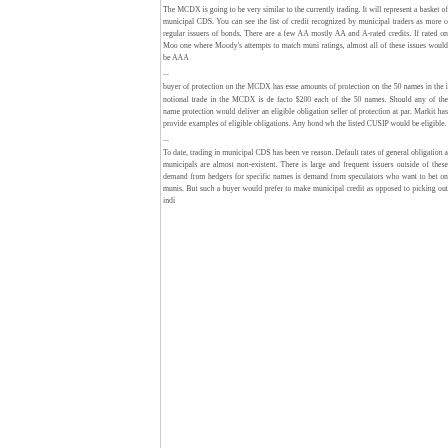The MCDX is going to be very similar to the currently trading. It will represent a basket of municipal CDS. You can see the list of credit recognized by municipal traders as more o regular issuers of bonds. There are a few AA mostly AA and A-rated credits. If rated on Moo one where Moody's attempts to match muni ratings, almost all of these issues would be AAA ... buyer of protection on the MCDX has esse amounts of protection on the 50 names in the i notional trade in the MCDX is de facto $200 each of the 50 names. Should any of the name protection would deliver an eligible obligation seller of protection at par. Markit has provide examples of eligible obligations. Any bond wh the listed CUSIP would be eligible. ... To date, trading in municipal CDS has been ve reason. Default rates of general obligation a municipals are almost non-existent. There is large and frequent issuers outside of these demand from hedgers for specific names is demand from speculators who want to bet on munis. But such a buyer would prefer to make municipal credit as opposed to picking out indi